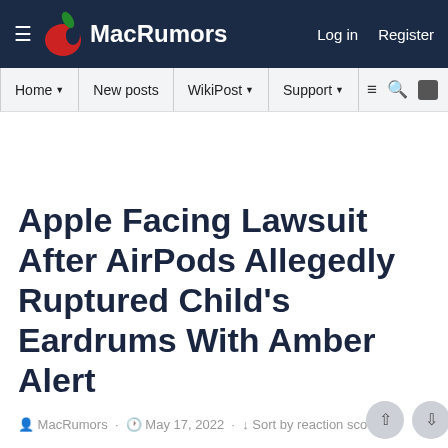MacRumors — Log in   Register
Home  New posts  WikiPost  Support
Apple Facing Lawsuit After AirPods Allegedly Ruptured Child's Eardrums With Amber Alert
MacRumors · May 17, 2022 · Sort by reaction score